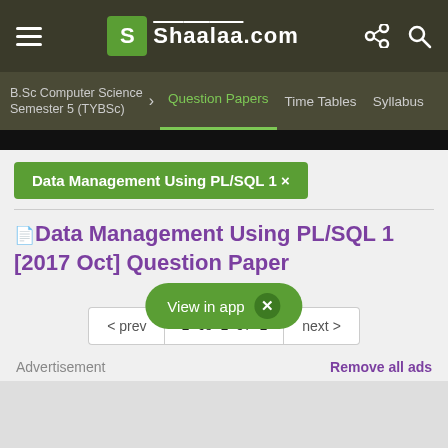Shaalaa.com
B.Sc Computer Science Semester 5 (TYBSc) > Question Papers | Time Tables | Syllabus
Data Management Using PL/SQL 1 ×
Data Management Using PL/SQL 1 [2017 Oct] Question Paper
View in app  X
< prev  1 to 1 of 1  next >
Advertisement    Remove all ads